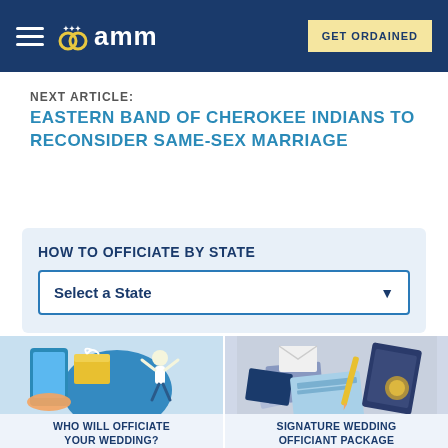AMM | GET ORDAINED
NEXT ARTICLE:
EASTERN BAND OF CHEROKEE INDIANS TO RECONSIDER SAME-SEX MARRIAGE
HOW TO OFFICIATE BY STATE
Select a State
[Figure (illustration): Illustration showing a person celebrating with arms raised, with gifts and a smartphone in the background]
WHO WILL OFFICIATE YOUR WEDDING?
[Figure (photo): Photo of wedding officiant package materials including documents, a book, and stationery]
SIGNATURE WEDDING OFFICIANT PACKAGE